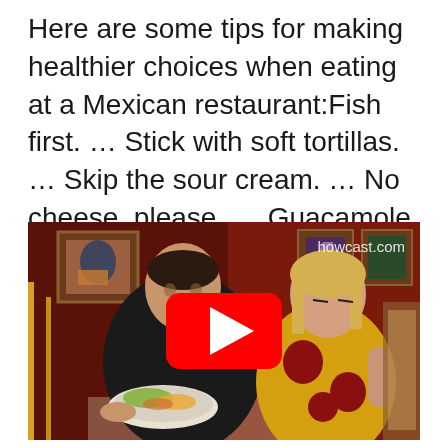Here are some tips for making healthier choices when eating at a Mexican restaurant:Fish first. … Stick with soft tortillas. … Skip the sour cream. … No cheese, please. … Guacamole is good for you. … Go for grilled. … Add fajita veggies. … Skip the chips.
[Figure (screenshot): A YouTube video thumbnail/player showing two people sitting at a Mexican restaurant. A man in a black t-shirt holds a plate of food, and a woman in a yellow and red floral top sits beside him. The howcast.com watermark appears in the upper right. A red YouTube play button is centered on the image.]